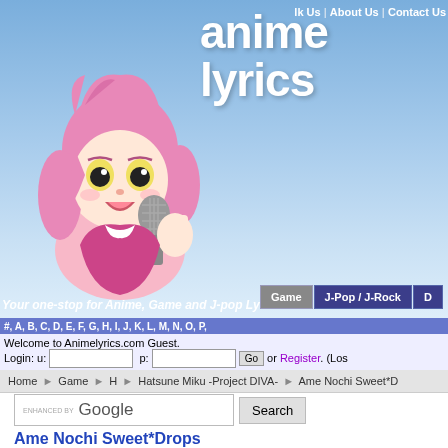[Figure (screenshot): Animelyrics.com website screenshot showing header banner with anime character holding microphone, navigation tabs for Game and J-Pop/J-Rock, alphabetical navigation bar, login area, breadcrumb navigation, Google search bar, song title 'Ame Nochi Sweet*Drops / Rain then Sweet*Drops', Add to Songbox button, and Print view links]
lk Us | About Us | Contact Us
anime lyrics
Your one-stop for Anime, Game and J-pop Lyrics
#, A, B, C, D, E, F, G, H, I, J, K, L, M, N, O, P,
Welcome to Animelyrics.com Guest.
Login: u: [text field] p: [text field] Go or Register. (Los
Home > Game > H > Hatsune Miku -Project DIVA- > Ame Nochi Sweet*D
ENHANCED BY Google Search
Ame Nochi Sweet*Drops
Rain then Sweet*Drops
Add to Songbox
Print view | Print view with Kanji